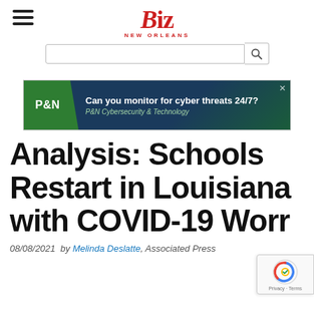Biz New Orleans
[Figure (screenshot): Search bar with magnifying glass icon]
[Figure (screenshot): P&N advertisement banner: Can you monitor for cyber threats 24/7? P&N Cybersecurity & Technology]
Analysis: Schools Restart in Louisiana with COVID-19 Worr
08/08/2021  by Melinda Deslatte, Associated Press